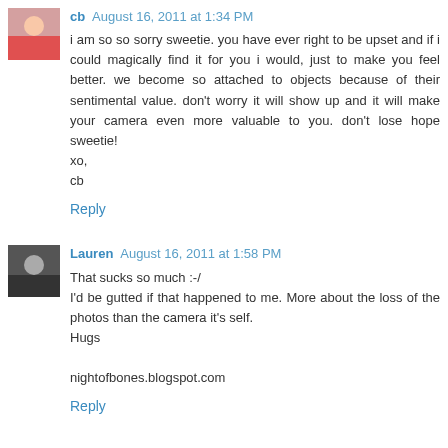cb August 16, 2011 at 1:34 PM
i am so so sorry sweetie. you have ever right to be upset and if i could magically find it for you i would, just to make you feel better. we become so attached to objects because of their sentimental value. don't worry it will show up and it will make your camera even more valuable to you. don't lose hope sweetie!
xo,
cb
Reply
Lauren August 16, 2011 at 1:58 PM
That sucks so much :-/
I'd be gutted if that happened to me. More about the loss of the photos than the camera it's self.
Hugs

nightofbones.blogspot.com
Reply